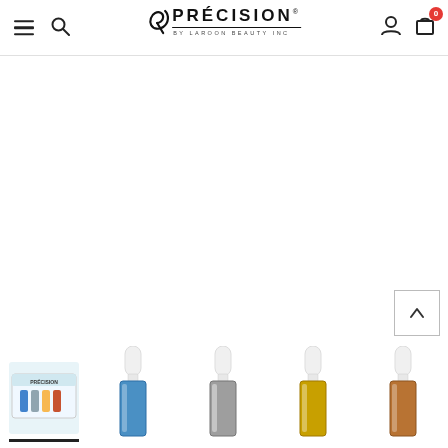Précision By Laroon Beauty Inc — navigation header with hamburger menu, search, logo, user icon, cart (0)
[Figure (screenshot): E-commerce product page for Précision by Laroon Beauty Inc nail polish collection. Large white content area in the center (product image area, mostly blank/white). Bottom strip shows nail polish product thumbnails: first is a box set with colorful nail polishes labeled Précision with active underline indicator; remaining thumbnails show individual nail polish bottles — blue metallic, silver/grey metallic, gold metallic, copper/bronze metallic (partially cut off on right). A back-to-top arrow button appears at bottom right.]